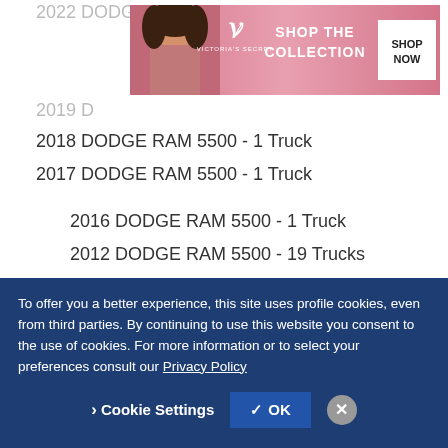2022 DODGE RAM 5500 - 1 Truck
[Figure (other): Victoria's Secret advertisement banner with model photo, brand logo, 'SHOP THE COLLECTION' text, and 'SHOP NOW' button]
2019 DODGE RAM 5500
2018 DODGE RAM 5500 - 1 Truck
2017 DODGE RAM 5500 - 1 Truck
2016 DODGE RAM 5500 - 1 Truck
2012 DODGE RAM 5500 - 19 Trucks
2011 DODGE RAM 5500 - 13 Trucks
2010 DODGE RAM 5500 - 1 Truck
2009 DODGE RAM 5500 - 6 Trucks
To offer you a better experience, this site uses profile cookies, even from third parties. By continuing to use this website you consent to the use of cookies. For more information or to select your preferences consult our Privacy Policy